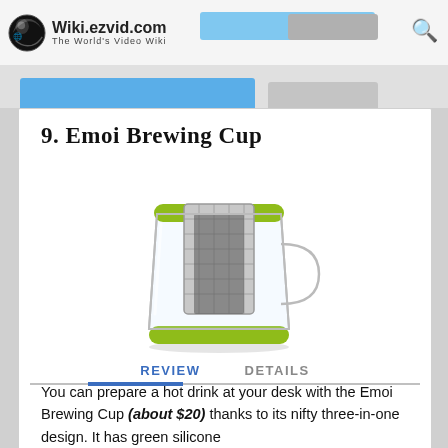Wiki.ezvid.com — The World's Video Wiki
9. Emoi Brewing Cup
[Figure (photo): Emoi Brewing Cup — a glass mug with green silicone lid and base, containing a metal mesh infuser strainer inside.]
REVIEW   DETAILS
You can prepare a hot drink at your desk with the Emoi Brewing Cup (about $20) thanks to its nifty three-in-one design. It has green silicone